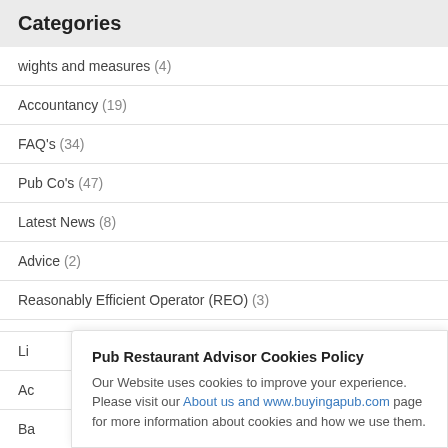Categories
wights and measures (4)
Accountancy (19)
FAQ's (34)
Pub Co's (47)
Latest News (8)
Advice (2)
Reasonably Efficient Operator (REO) (3)
About Us (1)
Speciality Food Magazine (1)
Pub Restaurant Advisor Cookies Policy
Our Website uses cookies to improve your experience. Please visit our About us and www.buyingapub.com page for more information about cookies and how we use them.